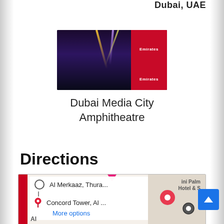Dubai, UAE
[Figure (photo): Concert stage photo at Dubai Media City Amphitheatre with Emirates branding, stage lights and performer silhouette]
Dubai Media City Amphitheatre
Directions
[Figure (map): Google Maps showing directions from Al Merkaaz, Thura... to Concord Tower, Al... with pink location pin and map markers. Shows 'More options' link. Right side shows 'ini Palm Hotel & S' label.]